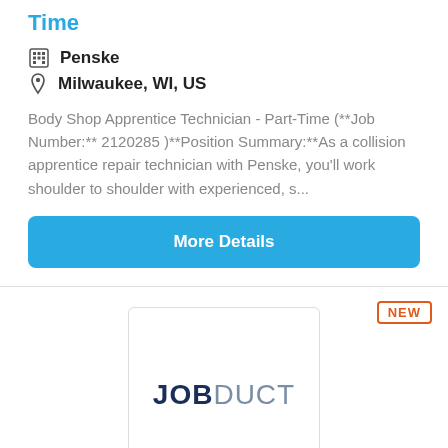Time
Penske
Milwaukee, WI, US
Body Shop Apprentice Technician - Part-Time (**Job Number:** 2120285 )**Position Summary:**As a collision apprentice repair technician with Penske, you'll work shoulder to shoulder with experienced, s...
More Details
NEW
[Figure (logo): JOBDUCT logo in a white bordered box]
Service Technician and Apprentice Helpers